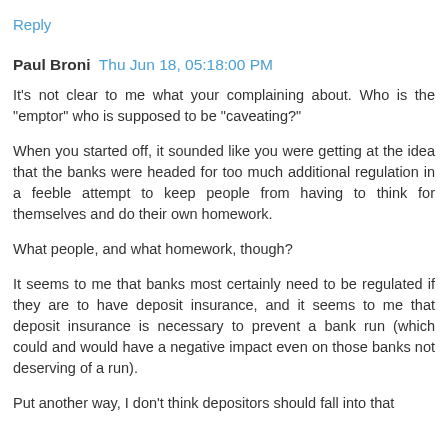Reply
Paul Broni  Thu Jun 18, 05:18:00 PM
It's not clear to me what your complaining about. Who is the "emptor" who is supposed to be "caveating?"
When you started off, it sounded like you were getting at the idea that the banks were headed for too much additional regulation in a feeble attempt to keep people from having to think for themselves and do their own homework.
What people, and what homework, though?
It seems to me that banks most certainly need to be regulated if they are to have deposit insurance, and it seems to me that deposit insurance is necessary to prevent a bank run (which could and would have a negative impact even on those banks not deserving of a run).
Put another way, I don't think depositors should fall into that